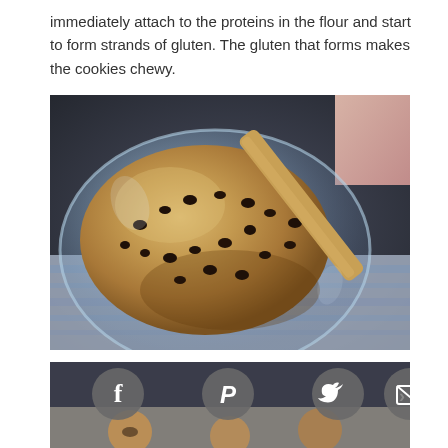immediately attach to the proteins in the flour and start to form strands of gluten. The gluten that forms makes the cookies chewy.
[Figure (photo): A glass bowl containing chocolate chip cookie dough with a wooden spoon, placed on a blue and white striped cloth on a dark wooden surface with flour scattered around.]
[Figure (screenshot): Bottom portion of a second photo (cookies on parchment paper) partially visible, overlaid with social media sharing icons: Facebook (f), Pinterest (P), Twitter bird, and email envelope, in gray circular buttons.]